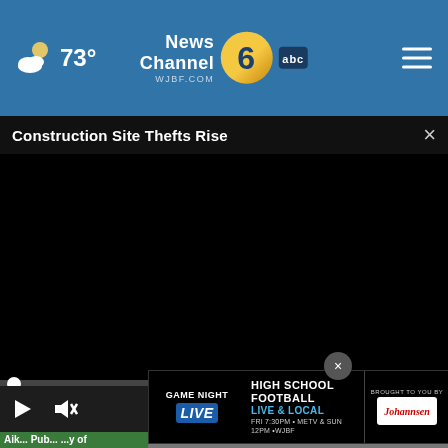73° News Channel 6 abc WJBF.COM
Construction Site Thefts Rise
[Figure (screenshot): Black video player area with play button, mute icon, timestamp 00:00, caption icon, and fullscreen icon on dark control bar. A circular white dot marks the beginning of the progress bar.]
[Figure (screenshot): Ad banner: GAME NIGHT LIVE - HIGH SCHOOL FOOTBALL LIVE & LOCAL, FRI 7:30PM • METV & SUN 12PM • WJBF. Brought to you by Johannsen sponsor logo.]
Aik... Pub... ...y of Risi... ...er...